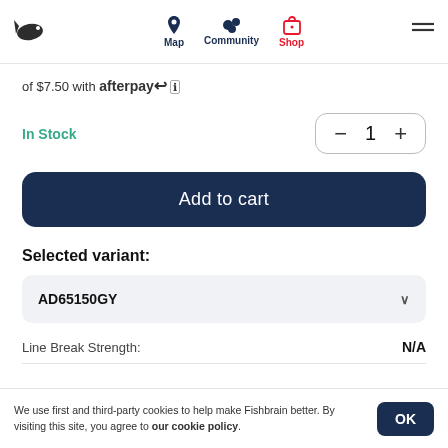Fishbrain navigation: Map, Community, Shop
of $7.50 with afterpay ℹ
In Stock
1
Add to cart
Selected variant:
AD65150GY
Line Break Strength: N/A
We use first and third-party cookies to help make Fishbrain better. By visiting this site, you agree to our cookie policy.